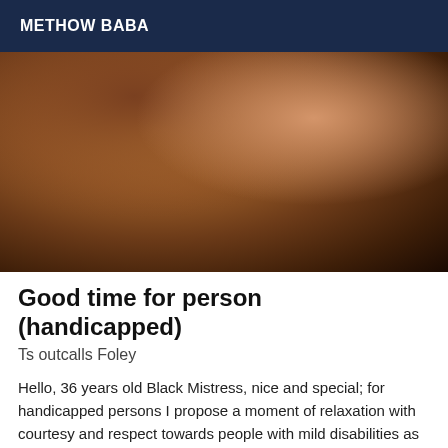METHOW BABA
[Figure (photo): Close-up photograph]
Good time for person (handicapped)
Ts outcalls Foley
Hello, 36 years old Black Mistress, nice and special; for handicapped persons I propose a moment of relaxation with courtesy and respect towards people with mild disabilities as well. Often neglected and despised by other colleagues; I accept you with pleasure to bring you